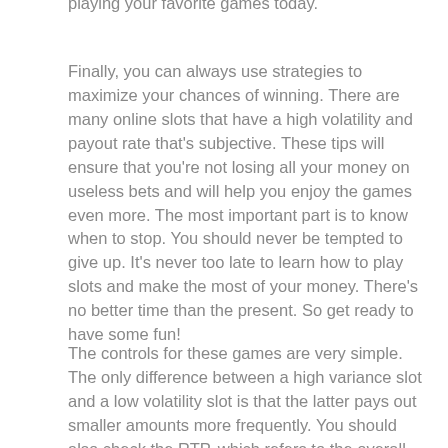playing your favorite games today.
Finally, you can always use strategies to maximize your chances of winning. There are many online slots that have a high volatility and payout rate that's subjective. These tips will ensure that you're not losing all your money on useless bets and will help you enjoy the games even more. The most important part is to know when to stop. You should never be tempted to give up. It's never too late to learn how to play slots and make the most of your money. There's no better time than the present. So get ready to have some fun!
The controls for these games are very simple. The only difference between a high variance slot and a low volatility slot is that the latter pays out smaller amounts more frequently. You should also check the RTP, which refers to the overall return of the